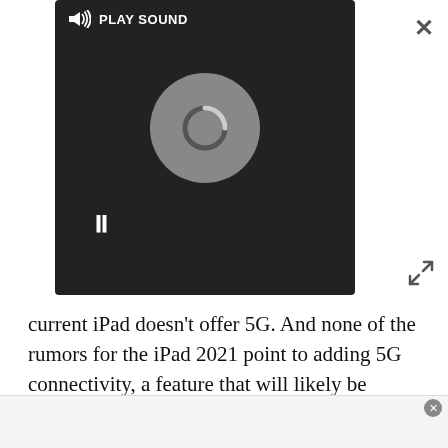[Figure (screenshot): A media player overlay showing a speaker icon, PLAY SOUND label, a loading spinner on dark background, and a pause button (two vertical bars). A close X button appears top right and an expand icon appears to the right of the player.]
current iPad doesn't offer 5G. And none of the rumors for the iPad 2021 point to adding 5G connectivity, a feature that will likely be reserved for the iPad Pro 2021. That would give the rumored Tab S7 Lite a big advantage with consumers who like to use their tablets on the move and away from Wi-Fi networks.
The Tab S6 Lite launched in May of last year, so we could expect a reveal for the Tab S7 Lite at a similar point this year. We already love the Tab S6 Lite, in fact